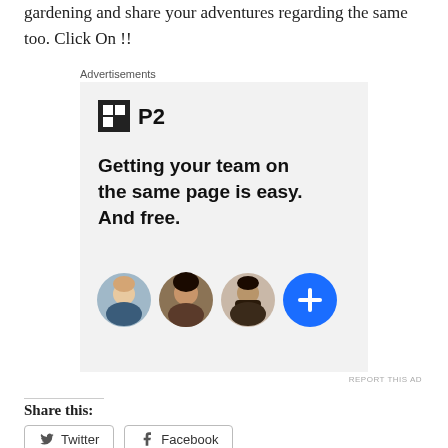gardening and share your adventures regarding the same too. Click On !!
[Figure (screenshot): Advertisement for P2 product. Shows P2 logo icon, headline reading 'Getting your team on the same page is easy. And free.' with three profile photo circles and a blue plus button circle.]
REPORT THIS AD
Share this:
Twitter
Facebook